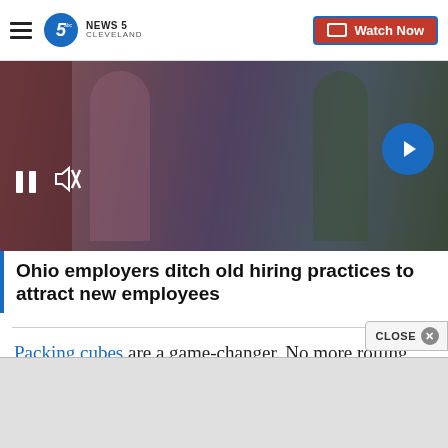NEWS 5 CLEVELAND | Watch Now
[Figure (screenshot): News video thumbnail showing people in an office/job fair setting with video player controls (pause button, mute icon) and a next arrow button]
Ohio employers ditch old hiring practices to attract new employees
Packing cubes are a game-changer. No more rolling, cramming or smashing your clothes into an overloaded suitcase. With packing cubes, you can keep your clothes and other items neatly organized without